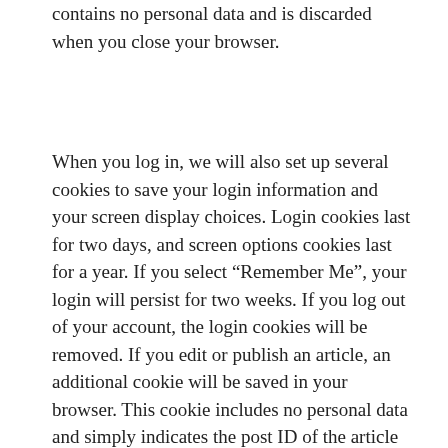contains no personal data and is discarded when you close your browser.
When you log in, we will also set up several cookies to save your login information and your screen display choices. Login cookies last for two days, and screen options cookies last for a year. If you select “Remember Me”, your login will persist for two weeks. If you log out of your account, the login cookies will be removed. If you edit or publish an article, an additional cookie will be saved in your browser. This cookie includes no personal data and simply indicates the post ID of the article you just